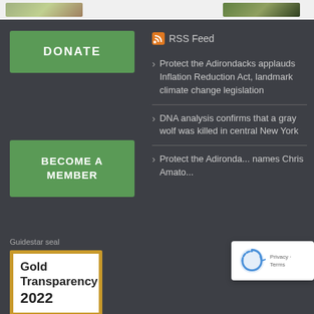[Figure (photo): Two partial photo thumbnails visible at top of page — left shows outdoor scene, right shows forest/nature scene]
DONATE
BECOME A MEMBER
Guidestar seal
[Figure (illustration): Gold Transparency 2022 Guidestar seal badge with gold border on white background]
RSS Feed
Protect the Adirondacks applauds Inflation Reduction Act, landmark climate change legislation
DNA analysis confirms that a gray wolf was killed in central New York
Protect the Adirondacks names Chris Amato...